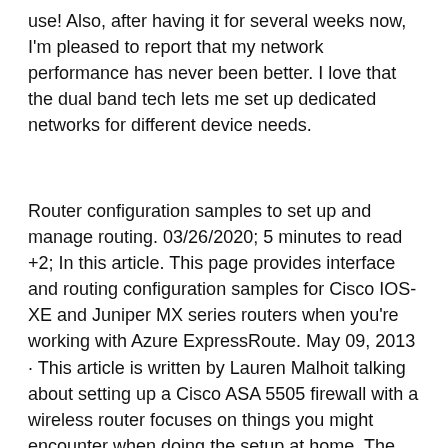use! Also, after having it for several weeks now, I'm pleased to report that my network performance has never been better. I love that the dual band tech lets me set up dedicated networks for different device needs.
Router configuration samples to set up and manage routing. 03/26/2020; 5 minutes to read +2; In this article. This page provides interface and routing configuration samples for Cisco IOS-XE and Juniper MX series routers when you're working with Azure ExpressRoute. May 09, 2013 · This article is written by Lauren Malhoit talking about setting up a Cisco ASA 5505 firewall with a wireless router focuses on things you might encounter when doing the setup at home. The following detailed story is Lauren Malhoit's experience of dealing with setting up Cisco 5510 with a wireless router. Jan 08, 2010 · In this lab students will configure common settings on a Cisco Router and Cisco Switch. Given an IP address of 198.133.219.0/24, with 4 bits borrowed for subnets, fill in the